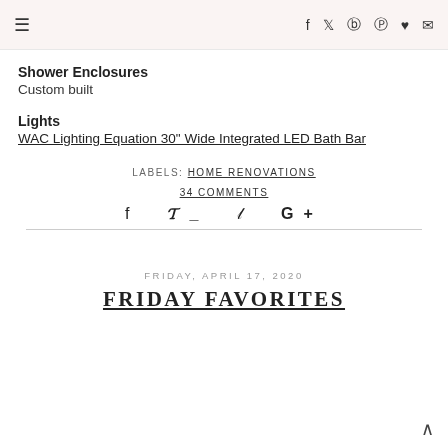≡  f  𝕥  ®  ◎  ♥  ✉
Shower Enclosures
Custom built
Lights
WAC Lighting Equation 30" Wide Integrated LED Bath Bar
LABELS: HOME RENOVATIONS
34 COMMENTS
f  𝕥_  𝕡  G+
FRIDAY, APRIL 17, 2020
FRIDAY FAVORITES